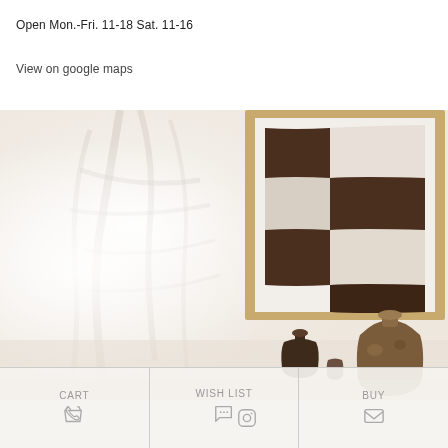Open Mon.-Fri. 11-18 Sat. 11-16
View on google maps
[Figure (photo): Interior decorative scene showing a framed artwork with a brown and white checkered/wavy pattern leaning against a wall, alongside two small brown ceramic vases on a table, with blurred plant shadows in background]
CART
WISH LIST
BUY